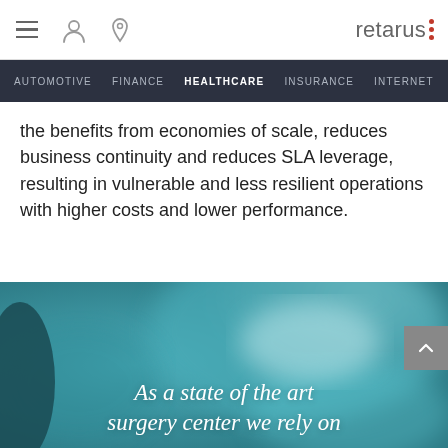retarus
AUTOMOTIVE  FINANCE  HEALTHCARE  INSURANCE  INTERNET
the benefits from economies of scale, reduces business continuity and reduces SLA leverage, resulting in vulnerable and less resilient operations with higher costs and lower performance.
[Figure (photo): Blurred teal/blue background with medical instruments, with overlaid italic white text reading 'As a state of the art surgery center we rely on']